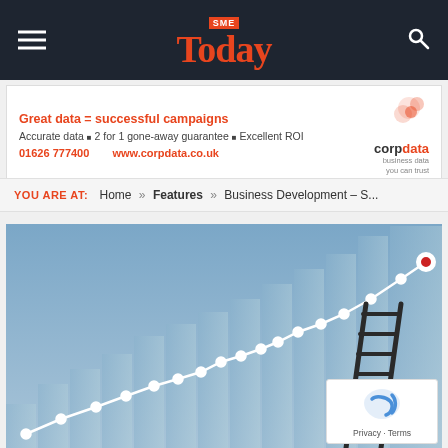SME Today
[Figure (infographic): Advertisement banner for Corpdata: 'Great data = successful campaigns. Accurate data 2 for 1 gone-away guarantee Excellent ROI. 01626 777400 www.corpdata.co.uk' with Corpdata logo on the right.]
YOU ARE AT: Home » Features » Business Development – S...
[Figure (illustration): Illustration showing a rising line chart with white dots on a blue background, with a ladder leaning against the chart bars on the right side.]